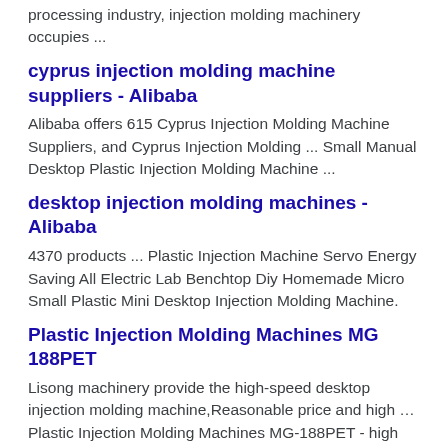processing industry, injection molding machinery occupies ...
cyprus injection molding machine suppliers - Alibaba
Alibaba offers 615 Cyprus Injection Molding Machine Suppliers, and Cyprus Injection Molding ... Small Manual Desktop Plastic Injection Molding Machine ...
desktop injection molding machines - Alibaba
4370 products ... Plastic Injection Machine Servo Energy Saving All Electric Lab Benchtop Diy Homemade Micro Small Plastic Mini Desktop Injection Molding Machine.
Plastic Injection Molding Machines MG 188PET
Lisong machinery provide the high-speed desktop injection molding machine,Reasonable price and high … Plastic Injection Molding Machines MG-188PET - high speed ...